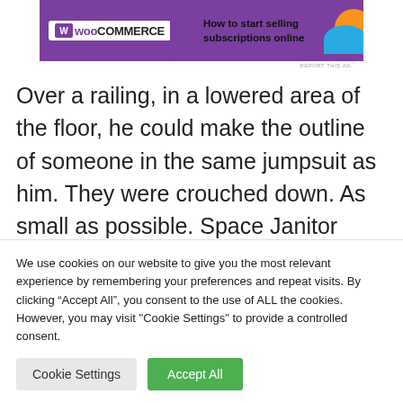[Figure (screenshot): WooCommerce advertisement banner with purple background, WooCommerce logo on left, text 'How to start selling subscriptions online' on right, with orange and blue decorative circles]
Over a railing, in a lowered area of the floor, he could make the outline of someone in the same jumpsuit as him. They were crouched down. As small as possible. Space Janitor leaned on the railing to get a better look.
Space Janitor's force on the railing caused it to
We use cookies on our website to give you the most relevant experience by remembering your preferences and repeat visits. By clicking "Accept All", you consent to the use of ALL the cookies. However, you may visit "Cookie Settings" to provide a controlled consent.